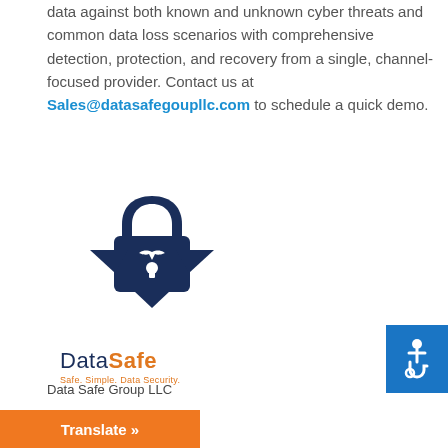data against both known and unknown cyber threats and common data loss scenarios with comprehensive detection, protection, and recovery from a single, channel-focused provider. Contact us at Sales@datasafegoupllc.com to schedule a quick demo.
[Figure (logo): DataSafe logo — dark navy padlock/shield icon with a bird silhouette, text 'DataSafe' with 'Safe' in orange, tagline 'Safe. Simple. Data Security.' in orange below]
Data Safe Group LLC
Services
ntinuity